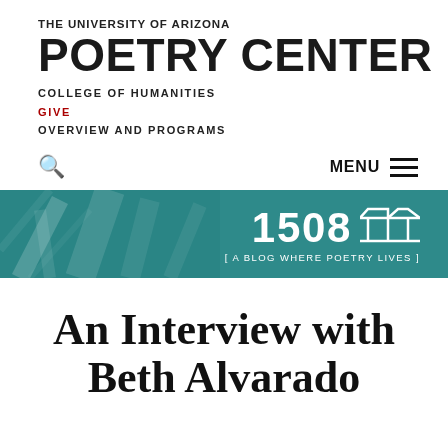THE UNIVERSITY OF ARIZONA
POETRY CENTER
COLLEGE OF HUMANITIES
GIVE
OVERVIEW AND PROGRAMS
MENU
[Figure (logo): 1508 blog banner with teal background and geometric line art. Text reads '1508' with a stylized icon and tagline '[ A BLOG WHERE POETRY LIVES ]']
An Interview with Beth Alvarado